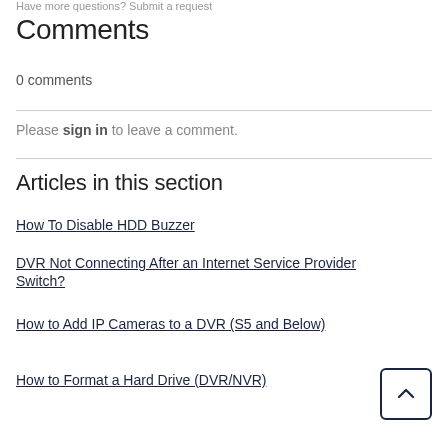Have more questions? Submit a request
Comments
0 comments
Please sign in to leave a comment.
Articles in this section
How To Disable HDD Buzzer
DVR Not Connecting After an Internet Service Provider Switch?
How to Add IP Cameras to a DVR (S5 and Below)
How to Format a Hard Drive (DVR/NVR)